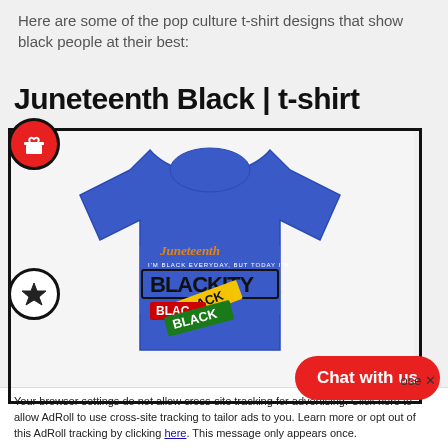Here are some of the pop culture t-shirt designs that show black people at their best:
Juneteenth Black | t-shirt
[Figure (photo): Blue t-shirt with Juneteenth 'Blackity Black Black' graphic design featuring colorful text layers]
Chat with us
ose ✕
Your browser settings do not allow cross-site tracking for advertising. Click here to allow AdRoll to use cross-site tracking to tailor ads to you. Learn more or opt out of this AdRoll tracking by clicking here. This message only appears once.